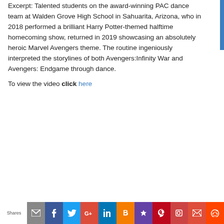Excerpt: Talented students on the award-winning PAC dance team at Walden Grove High School in Sahuarita, Arizona, who in 2018 performed a brilliant Harry Potter-themed halftime homecoming show, returned in 2019 showcasing an absolutely heroic Marvel Avengers theme. The routine ingeniously interpreted the storylines of both Avengers:Infinity War and Avengers: Endgame through dance.
To view the video click here